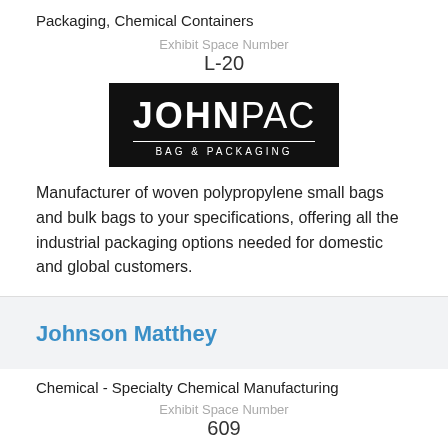Packaging, Chemical Containers
Exhibit Space Number
L-20
[Figure (logo): JOHNPAC BAG & PACKAGING logo — white text on black background]
Manufacturer of woven polypropylene small bags and bulk bags to your specifications, offering all the industrial packaging options needed for domestic and global customers.
Johnson Matthey
Chemical - Specialty Chemical Manufacturing
Exhibit Space Number
609